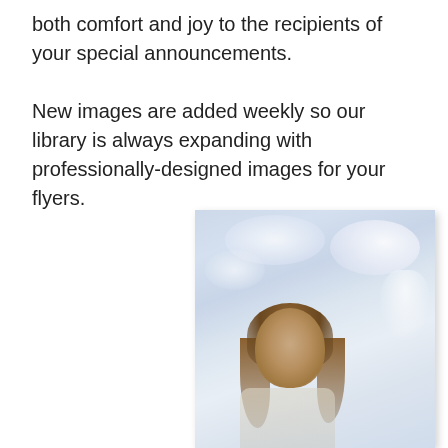both comfort and joy to the recipients of your special announcements.

New images are added weekly so our library is always expanding with professionally-designed images for your flyers.
[Figure (illustration): A soft, faded religious illustration showing Jesus Christ with long hair against a light blue sky with white clouds. The image has a gentle, ethereal quality with muted pastel tones.]